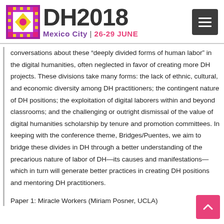DH2018 Mexico City | 26-29 JUNE
conversations about these “deeply divided forms of human labor” in the digital humanities, often neglected in favor of creating more DH projects. These divisions take many forms: the lack of ethnic, cultural, and economic diversity among DH practitioners; the contingent nature of DH positions; the exploitation of digital laborers within and beyond classrooms; and the challenging or outright dismissal of the value of digital humanities scholarship by tenure and promotion committees. In keeping with the conference theme, Bridges/Puentes, we aim to bridge these divides in DH through a better understanding of the precarious nature of labor of DH—its causes and manifestations—which in turn will generate better practices in creating DH positions and mentoring DH practitioners.
Paper 1: Miracle Workers (Miriam Posner, UCLA)